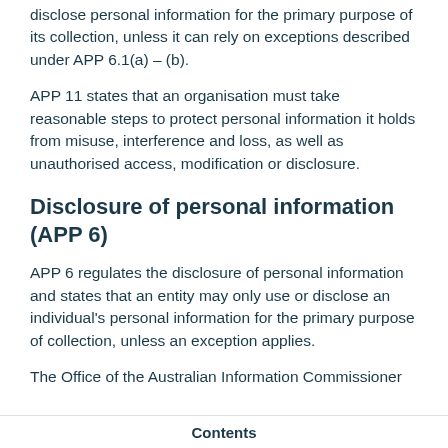disclose personal information for the primary purpose of its collection, unless it can rely on exceptions described under APP 6.1(a) – (b).
APP 11 states that an organisation must take reasonable steps to protect personal information it holds from misuse, interference and loss, as well as unauthorised access, modification or disclosure.
Disclosure of personal information (APP 6)
APP 6 regulates the disclosure of personal information and states that an entity may only use or disclose an individual's personal information for the primary purpose of collection, unless an exception applies.
The Office of the Australian Information Commissioner
Contents